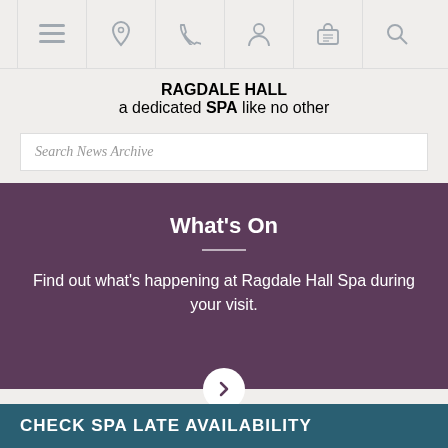[Figure (screenshot): Website navigation bar with icons: hamburger menu, location pin, phone, person/account, basket/cart, search]
RAGDALE HALL SPA a dedicated SPA like no other
Search News Archive
What's On
Find out what's happening at Ragdale Hall Spa during your visit.
Ragdale Hall Newsletters
CHECK SPA LATE AVAILABILITY